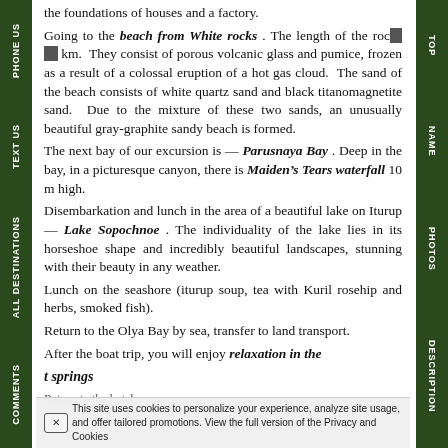PHONE US | TEXT US | ALL DESTINATIONS | COMMENTS (left nav); TOP | NAME | PHOTOS | DESCRIPTION (right nav)
the foundations of houses and a factory. Going to the beach from White rocks. The length of the rocks 38 km. They consist of porous volcanic glass and pumice, frozen as a result of a colossal eruption of a hot gas cloud. The sand of the beach consists of white quartz sand and black titanomagnetite sand. Due to the mixture of these two sands, an unusually beautiful gray-graphite sandy beach is formed. The next bay of our excursion is — Parusnaya Bay. Deep in the bay, in a picturesque canyon, there is Maiden's Tears waterfall 10 m high. Disembarkation and lunch in the area of a beautiful lake on Iturup — Lake Sopochnoe. The individuality of the lake lies in its horseshoe shape and incredibly beautiful landscapes, stunning with their beauty in any weather. Lunch on the seashore (iturup soup, tea with Kuril rosehip and herbs, smoked fish). Return to the Olya Bay by sea, transfer to land transport. After the boat trip, you will enjoy relaxation in the hot springs Return to the hotel.
This site uses cookies to personalize your experience, analyze site usage, and offer tailored promotions. View the full version of the Privacy and Cookies